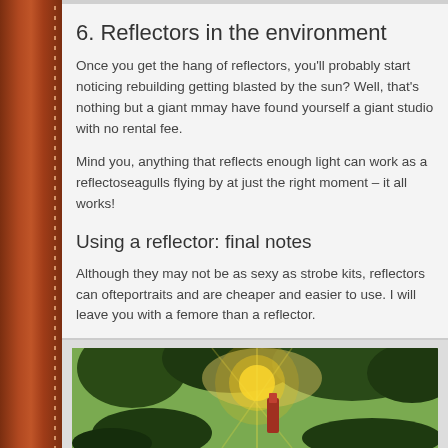6. Reflectors in the environment
Once you get the hang of reflectors, you'll probably start noticing reflectors building getting blasted by the sun? Well, that's nothing but a giant may have found yourself a giant studio with no rental fee.
Mind you, anything that reflects enough light can work as a reflector seagulls flying by at just the right moment – it all works!
Using a reflector: final notes
Although they may not be as sexy as strobe kits, reflectors can often portraits and are cheaper and easier to use. I will leave you with a fe more than a reflector.
In the child portraits below, note that there is light behind the kids in on their faces. Same goes for the athlete portraits.
[Figure (photo): Child portrait photo with sunlight visible behind trees and a person holding something, outdoor setting with green foliage]